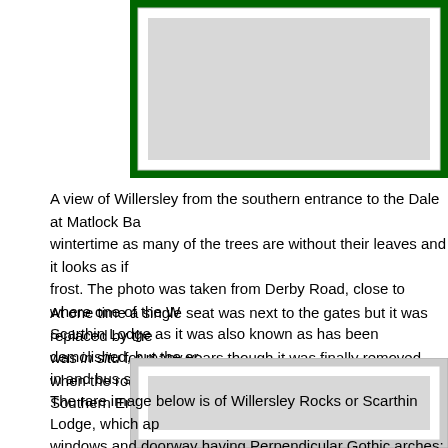[Figure (photo): Top portion of a framed photograph with green border, partially visible at top of page — a view of Willersley from the southern entrance to the Dale at Matlock Bath.]
A view of Willersley from the southern entrance to the Dale at Matlock Bath in wintertime as many of the trees are without their leaves and it looks as if there has been a frost. The photo was taken from Derby Road, close to where one of the Willersley gates or Scarthin Lodge as it was also known as has been demolished, but the entrance gates, lodge in and bus shelter on the A6 close to Cromford.
At one time a single seat was next to the gates but it was replaced by the bus shelter. It was in situ for many years though it was finally removed when the road was widened. See Southern Entrance to the Dale, linked on the right.
The rare image below is of Willersley Rocks or Scarthin Lodge, which appears to have windows and doorway having Perpendicular Gothic arches; indeed, the walls even have battlements around the roof line, unlike the softer Georgian architecture of Willersley. We fought hard to preserve this building today.
[Figure (photo): Bottom portion of a framed photograph, partially visible at bottom of page — the rare image of Willersley Rocks or Scarthin Lodge.]